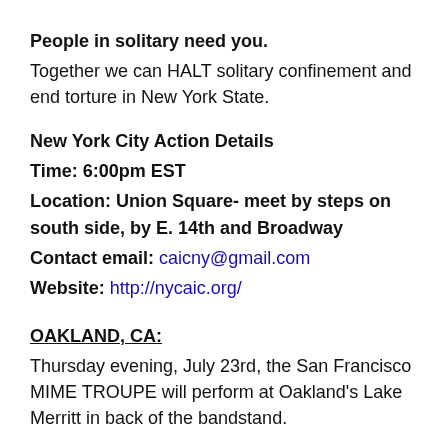People in solitary need you. Together we can HALT solitary confinement and end torture in New York State.
New York City Action Details
Time: 6:00pm EST
Location: Union Square- meet by steps on south side, by E. 14th and Broadway
Contact email: caicny@gmail.com
Website: http://nycaic.org/
OAKLAND, CA:
Thursday evening, July 23rd, the San Francisco MIME TROUPE will perform at Oakland's Lake Merritt in back of the bandstand.
Please come volunteer to help set up the model SHU